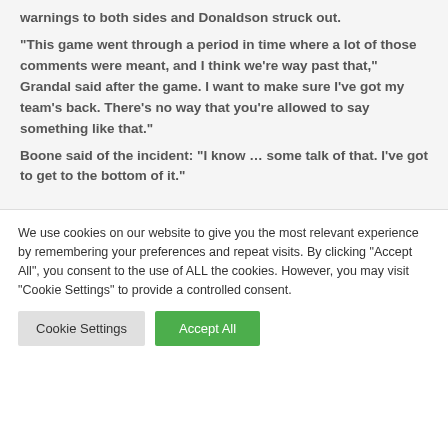warnings to both sides and Donaldson struck out.
“This game went through a period in time where a lot of those comments were meant, and I think we’re way past that,” Grandal said after the game. I want to make sure I’ve got my team’s back. There’s no way that you’re allowed to say something like that.”
Boone said of the incident: “I know … some talk of that. I’ve got to get to the bottom of it.”
We use cookies on our website to give you the most relevant experience by remembering your preferences and repeat visits. By clicking “Accept All”, you consent to the use of ALL the cookies. However, you may visit "Cookie Settings" to provide a controlled consent.